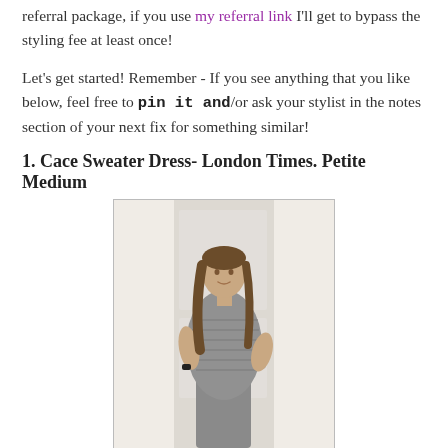referral package, if you use my referral link I'll get to bypass the styling fee at least once!
Let's get started! Remember - If you see anything that you like below, feel free to pin it and/or ask your stylist in the notes section of your next fix for something similar!
1. Cace Sweater Dress- London Times. Petite Medium
[Figure (photo): Woman wearing a grey striped short-sleeve dress, standing in front of a white door, posing with one hand on hip, long brown hair.]